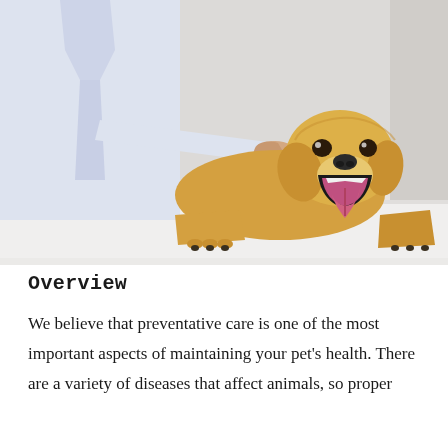[Figure (photo): A golden retriever puppy lying on a veterinary examination table with its mouth open wide, yawning or panting. A veterinarian in a white lab coat is holding a syringe near the puppy's back, about to administer an injection. The background is a clinical white/light gray setting.]
Overview
We believe that preventative care is one of the most important aspects of maintaining your pet's health. There are a variety of diseases that affect animals, so proper